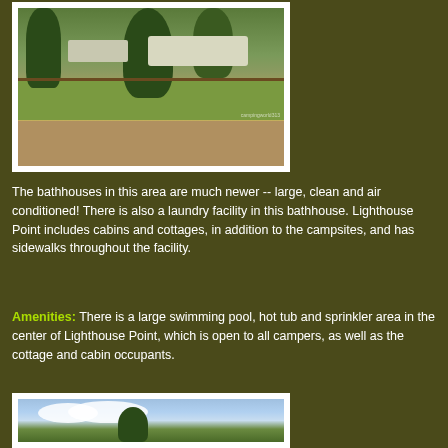[Figure (photo): Outdoor campground area with RVs parked among large trees, wooden fence in foreground, paved road visible]
The bathhouses in this area are much newer -- large, clean and air conditioned!  There is also a laundry facility in this bathhouse.  Lighthouse Point includes cabins and cottages, in addition to the campsites, and has sidewalks throughout the facility.
Amenities:  There is a large swimming pool, hot tub and sprinkler area in the center of Lighthouse Point, which is open to all campers, as well as the cottage and cabin occupants.
[Figure (photo): Outdoor scene with sky, clouds and a large tree at Lighthouse Point campground]